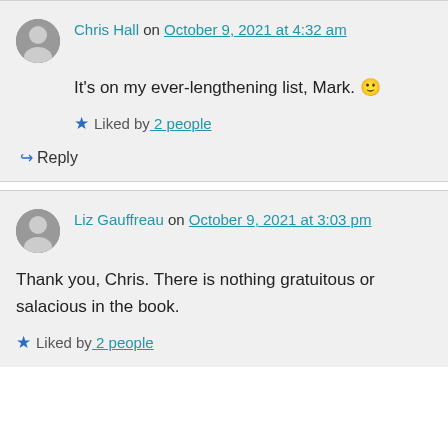Chris Hall on October 9, 2021 at 4:32 am
It's on my ever-lengthening list, Mark. 🙂
Liked by 2 people
↪ Reply
Liz Gauffreau on October 9, 2021 at 3:03 pm
Thank you, Chris. There is nothing gratuitous or salacious in the book.
Liked by 2 people